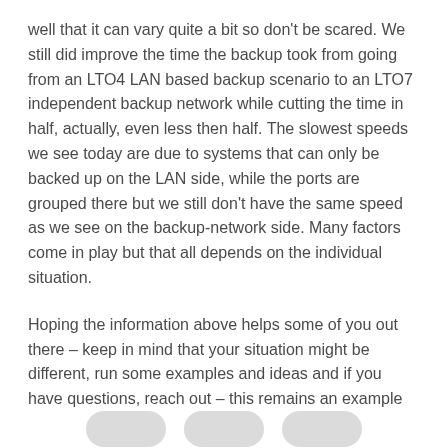well that it can vary quite a bit so don't be scared. We still did improve the time the backup took from going from an LTO4 LAN based backup scenario to an LTO7 independent backup network while cutting the time in half, actually, even less then half. The slowest speeds we see today are due to systems that can only be backed up on the LAN side, while the ports are grouped there but we still don't have the same speed as we see on the backup-network side. Many factors come in play but that all depends on the individual situation.
Hoping the information above helps some of you out there – keep in mind that your situation might be different, run some examples and ideas and if you have questions, reach out – this remains an example of what I really implemented at a company and how it affected the backup configuration and management.